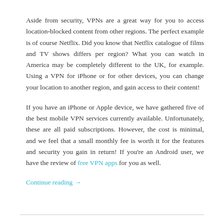Aside from security, VPNs are a great way for you to access location-blocked content from other regions. The perfect example is of course Netflix. Did you know that Netflix catalogue of films and TV shows differs per region? What you can watch in America may be completely different to the UK, for example. Using a VPN for iPhone or for other devices, you can change your location to another region, and gain access to their content!
If you have an iPhone or Apple device, we have gathered five of the best mobile VPN services currently available. Unfortunately, these are all paid subscriptions. However, the cost is minimal, and we feel that a small monthly fee is worth it for the features and security you gain in return! If you're an Android user, we have the review of free VPN apps for you as well.
Continue reading →